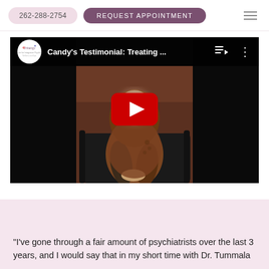262-288-2754  REQUEST APPOINTMENT
[Figure (screenshot): YouTube video thumbnail showing 'Candy's Testimonial: Treating ...' with a woman sitting on a couch with her face blurred, and a red YouTube play button in the center. The Trinergy logo circle appears in the top-left of the video player.]
“I’ve gone through a fair amount of psychiatrists over the last 3 years, and I would say that in my short time with Dr. Tummala